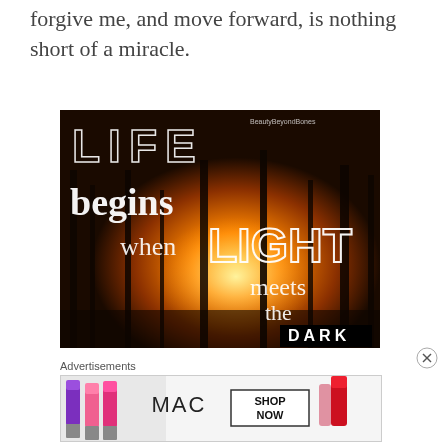forgive me, and move forward, is nothing short of a miracle.
[Figure (illustration): Inspirational image with dark forest background glowing with orange/amber light. Text overlay reads: 'LIFE begins when LIGHT meets the DARK'. Watermark: BeautyBeyondBones.]
Advertisements
[Figure (photo): MAC cosmetics advertisement showing colorful lipsticks on left, MAC logo in center, and SHOP NOW button in a box, with red lipstick on right.]